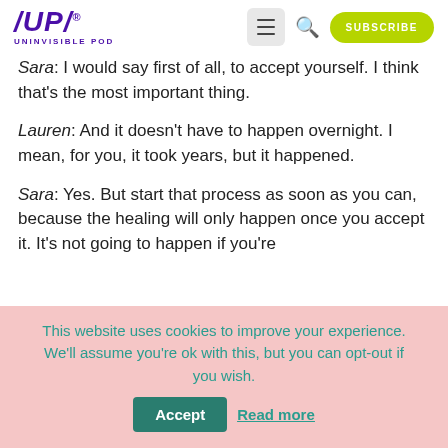/UP/ UNINVISIBLE POD — navigation header with menu, search, and subscribe button
Sara: I would say first of all, to accept yourself. I think that's the most important thing.
Lauren: And it doesn't have to happen overnight. I mean, for you, it took years, but it happened.
Sara: Yes. But start that process as soon as you can, because the healing will only happen once you accept it. It's not going to happen if you're
This website uses cookies to improve your experience. We'll assume you're ok with this, but you can opt-out if you wish. Accept Read more